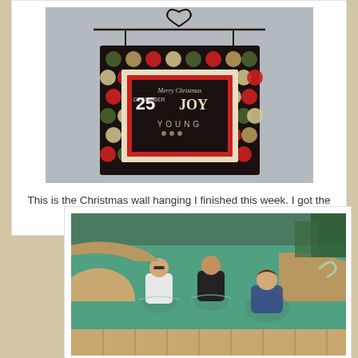[Figure (photo): Christmas wall hanging with festive polka dot fabric frame, hanging from a wire with a heart shape on top. Center panel shows 'Merry Christmas December 25 JOY YOUNG' label.]
This is the Christmas wall hanging I finished this week. I got the label with our surname on it  from Sweetwater.
[Figure (photo): Three people in a swimming pool with turquoise water, outdoor setting with stone pool surround.]